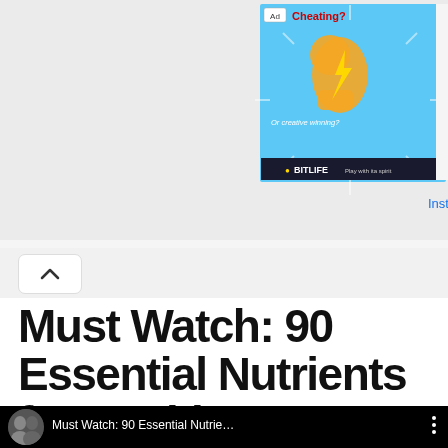[Figure (screenshot): Advertisement banner for BitLife game showing 'Cheating? Or creative winning?' with an arm/muscle emoji on a blue sunburst background, with an Ad label. Adjacent BitLife orange app icon and 'Install!' link visible on right.]
Must Watch: 90 Essential Nutrients for Health
[Figure (screenshot): YouTube video thumbnail area showing black top bar with circular avatar photo of two people, video title 'Must Watch: 90 Essential Nutrie...' in white text, three-dot menu icon. Below shows partial video frame with food image on left and person's face in center.]